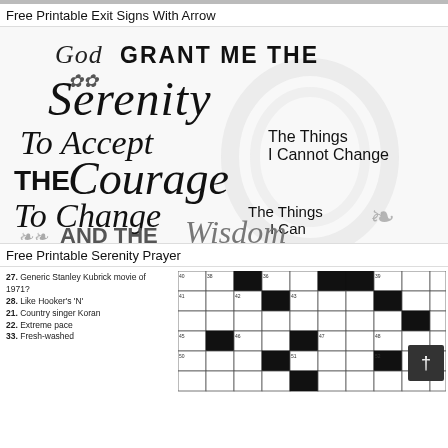[Figure (photo): Top strip image, partially visible]
Free Printable Exit Signs With Arrow
[Figure (illustration): Serenity Prayer typographic print: 'God Grant Me The Serenity To Accept The Things I Cannot Change THE Courage To Change The Things I Can AND THE Wisdom...']
Free Printable Serenity Prayer
[Figure (other): Crossword puzzle clues and grid. Clues: 27. Generic Stanley Kubrick movie of 1971? 28. Like Hooker's 'N' 21. Country singer Koran 22. Extreme pace 33. Fresh-washed]
[Figure (other): Partial crossword grid with black and white squares]